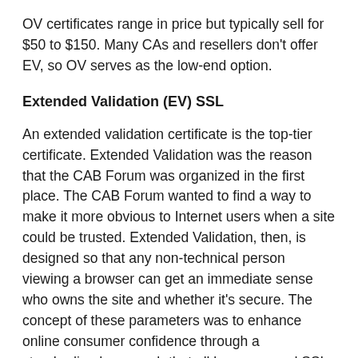OV certificates range in price but typically sell for $50 to $150. Many CAs and resellers don't offer EV, so OV serves as the low-end option.
Extended Validation (EV) SSL
An extended validation certificate is the top-tier certificate. Extended Validation was the reason that the CAB Forum was organized in the first place. The CAB Forum wanted to find a way to make it more obvious to Internet users when a site could be trusted. Extended Validation, then, is designed so that any non-technical person viewing a browser can get an immediate sense who owns the site and whether it's secure. The concept of these parameters was to enhance online consumer confidence through a standardized approach that all browsers and SSL companies could agree would work.
The information obtained by the Certificate Authority has to do both with both the Organization and the Organizational